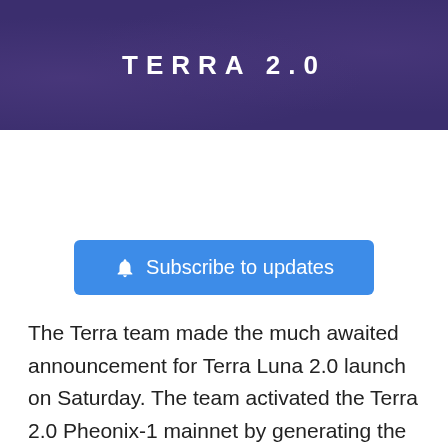TERRA 2.0
[Figure (other): Subscribe to updates button with bell icon on blue background]
The Terra team made the much awaited announcement for Terra Luna 2.0 launch on Saturday. The team activated the Terra 2.0 Pheonix-1 mainnet by generating the first block on the blockchain network.